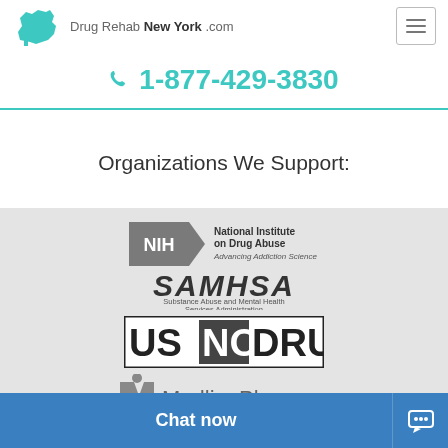[Figure (logo): NY state silhouette logo with 'Drug Rehab New York .com' text]
1-877-429-3830
Organizations We Support:
[Figure (logo): NIH National Institute on Drug Abuse - Advancing Addiction Science logo]
[Figure (logo): SAMHSA - Substance Abuse and Mental Health Services Administration logo]
[Figure (logo): US NO DRUGS logo]
[Figure (logo): MedlinePlus - Trusted Health Information for You logo]
Chat now
Copyright © 2024